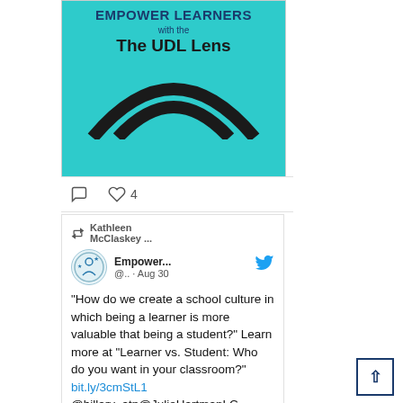[Figure (illustration): Cyan/teal banner image with text 'EMPOWER LEARNERS with the The UDL Lens' and a circular lens graphic at the bottom]
♡ 4 (like and comment action row)
Kathleen McClaskey ...
[Figure (logo): Circular logo with a person figure and stars, teal and blue colors]
Empower... @.. · Aug 30
"How do we create a school culture in which being a learner is more valuable that being a student?" Learn more at "Learner vs. Student: Who do you want in your classroom?" bit.ly/3cmStL1 @hillary_atp@JulieHartmanLC @khmmc #diversity